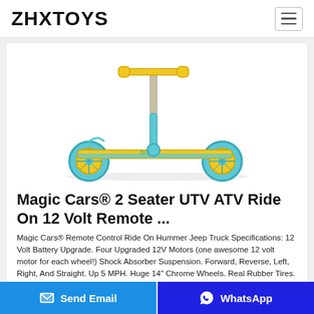ZHXTOYS
[Figure (photo): Yellow and teal/blue two-wheeled kick scooter with yellow handlebars and yellow wheels, shown on a white background.]
Magic Cars® 2 Seater UTV ATV Ride On 12 Volt Remote ...
Magic Cars® Remote Control Ride On Hummer Jeep Truck Specifications: 12 Volt Battery Upgrade. Four Upgraded 12V Motors (one awesome 12 volt motor for each wheel!) Shock Absorber Suspension. Forward, Reverse, Left, Right, And Straight. Up 5 MPH. Huge 14" Chrome Wheels. Real Rubber Tires. 48" long, 24" wide.
Send Email   WhatsApp